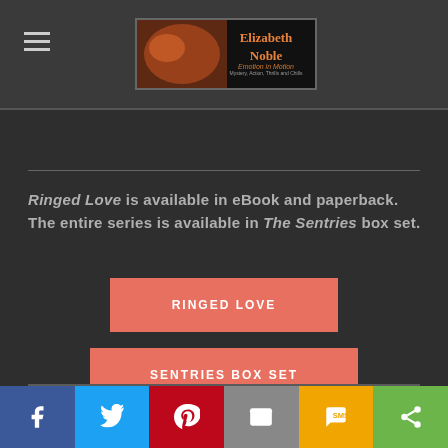[Figure (logo): Elizabeth Noble author logo with orange text and tagline 'Emotion in Motion, Mystery, Action, Thrills and Chills']
Ringed Love is available in eBook and paperback. The entire series is available in The Sentries box set.
[Figure (other): RINGED LOVE button in coral/salmon color]
[Figure (other): SENTRIES BOX SET button in coral/salmon color]
[Figure (other): Tweet button in blue]
[Figure (other): Social share bar at bottom: Facebook, Twitter, Pinterest, Email, SMS, Share]